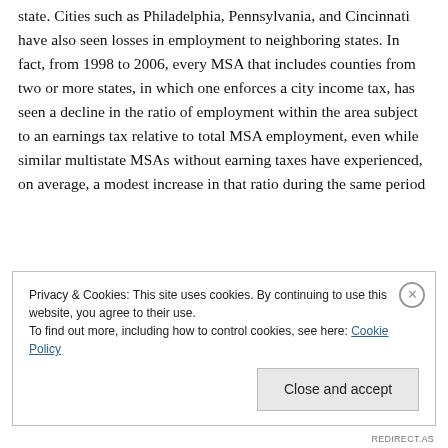state. Cities such as Philadelphia, Pennsylvania, and Cincinnati have also seen losses in employment to neighboring states. In fact, from 1998 to 2006, every MSA that includes counties from two or more states, in which one enforces a city income tax, has seen a decline in the ratio of employment within the area subject to an earnings tax relative to total MSA employment, even while similar multistate MSAs without earning taxes have experienced, on average, a modest increase in that ratio during the same period
Privacy & Cookies: This site uses cookies. By continuing to use this website, you agree to their use.
To find out more, including how to control cookies, see here: Cookie Policy
REDIRECT.AS